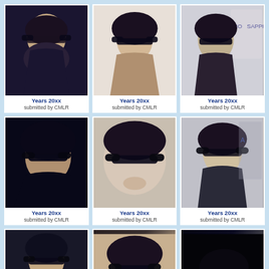[Figure (photo): Portrait photo, person with dark hair and sunglasses, row 1 col 1]
Years 20xx
submitted by CMLR
[Figure (photo): Portrait photo, person with dark hair and sunglasses, row 1 col 2]
Years 20xx
submitted by CMLR
[Figure (photo): Portrait photo, person with dark hair and sunglasses against event backdrop, row 1 col 3]
Years 20xx
submitted by CMLR
[Figure (photo): Portrait photo, person with dark hair and sunglasses, dark background, row 2 col 1]
Years 20xx
submitted by CMLR
[Figure (photo): Close-up photo, person with dark hair and sunglasses, row 2 col 2]
Years 20xx
submitted by CMLR
[Figure (photo): Portrait photo, person with dark hair and sunglasses smiling, row 2 col 3]
Years 20xx
submitted by CMLR
[Figure (photo): Full body photo, person with dark hair and sunglasses with white glove, row 3 col 1]
Years 20xx
submitted by CMLR
[Figure (photo): Portrait photo, person with dark hair and sunglasses smiling, row 3 col 2]
Years 20xx
submitted by CMLR
[Figure (photo): Dark photo, person with sunglasses in car, row 3 col 3]
Years 20xx
submitted by CMLR